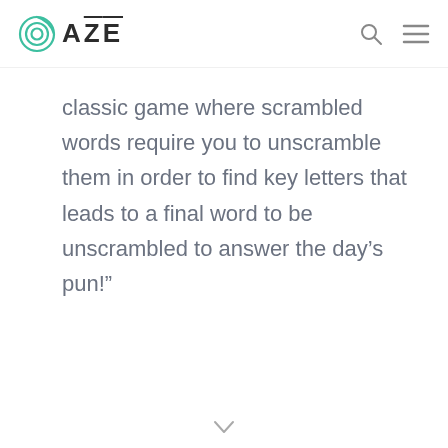OAZE
classic game where scrambled words require you to unscramble them in order to find key letters that leads to a final word to be unscrambled to answer the day’s pun!”